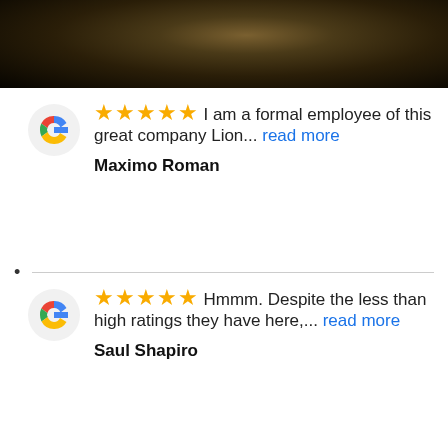[Figure (photo): Dark image at top of page, appears to show a dimly lit scene with warm tones suggesting an animal or figure in shadow.]
★★★★★ I am a formal employee of this great company Lion... read more
Maximo Roman
★★★★★ Hmmm. Despite the less than high ratings they have here,... read more
Saul Shapiro